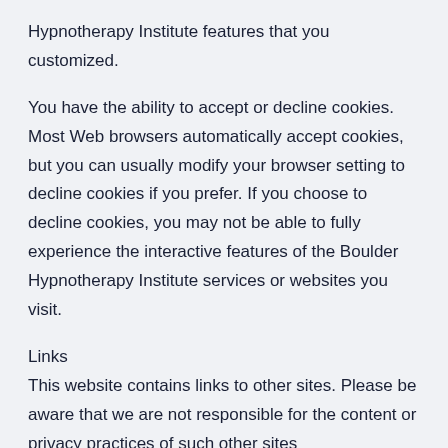Hypnotherapy Institute features that you customized.
You have the ability to accept or decline cookies. Most Web browsers automatically accept cookies, but you can usually modify your browser setting to decline cookies if you prefer. If you choose to decline cookies, you may not be able to fully experience the interactive features of the Boulder Hypnotherapy Institute services or websites you visit.
Links
This website contains links to other sites. Please be aware that we are not responsible for the content or privacy practices of such other sites